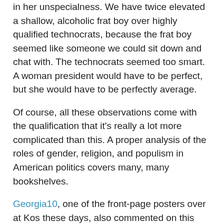in her unspecialness. We have twice elevated a shallow, alcoholic frat boy over highly qualified technocrats, because the frat boy seemed like someone we could sit down and chat with. The technocrats seemed too smart. A woman president would have to be perfect, but she would have to be perfectly average.
Of course, all these observations come with the qualification that it's really a lot more complicated than this. A proper analysis of the roles of gender, religion, and populism in American politics covers many, many bookshelves.
Georgia10, one of the front-page posters over at Kos these days, also commented on this article and I want to respond to something she says in conclusion.
The internet I think will revolutionize the role of women in politics. Because online, behind asexual monikers, women of all faiths and colors and experiences can pull up a chair to the national table and participate--indeed, even lead--the political discussion without having to deal with preconceived notions of what a female in